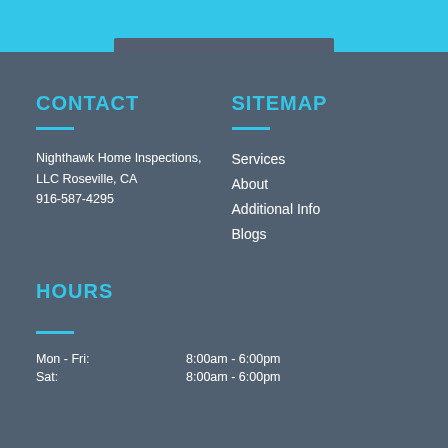CONTACT
Nighthawk Home Inspections, LLC Roseville, CA
916-587-4295
SITEMAP
Services
About
Additional Info
Blogs
HOURS
Mon - Fri:    8:00am - 6:00pm
Sat:           8:00am - 6:00pm